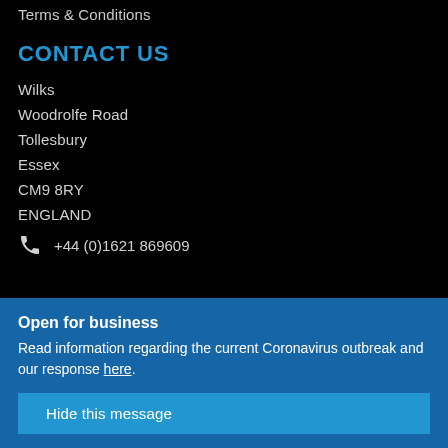Terms & Conditions
CONTACT US
Wilks
Woodrolfe Road
Tollesbury
Essex
CM9 8RY
ENGLAND
+44 (0)1621 869609
Open for business
Read information regarding the current Coronavirus outbreak and our response here.
Hide this message